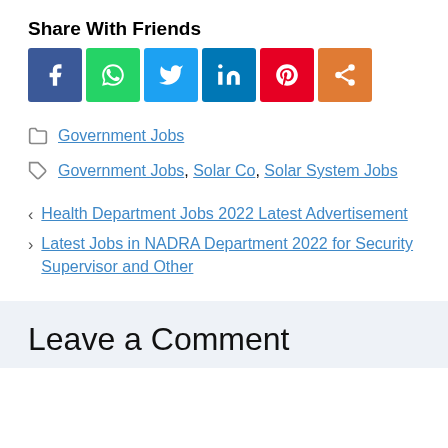Share With Friends
[Figure (infographic): Social media sharing icons: Facebook (blue), WhatsApp (green), Twitter (light blue), LinkedIn (dark blue), Pinterest (red), Share (orange)]
Government Jobs
Government Jobs, Solar Co, Solar System Jobs
< Health Department Jobs 2022 Latest Advertisement
> Latest Jobs in NADRA Department 2022 for Security Supervisor and Other
Leave a Comment